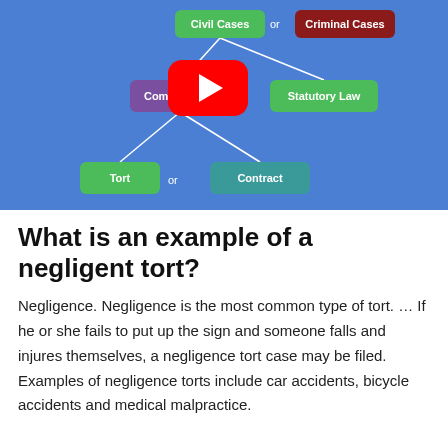[Figure (flowchart): A legal classification flowchart on blue background showing Civil Cases or Criminal Cases at top, branching to Common Law and Statutory Law in middle, then to Tort or Contract at bottom. A YouTube play button overlay is visible.]
What is an example of a negligent tort?
Negligence. Negligence is the most common type of tort. … If he or she fails to put up the sign and someone falls and injures themselves, a negligence tort case may be filed. Examples of negligence torts include car accidents, bicycle accidents and medical malpractice.